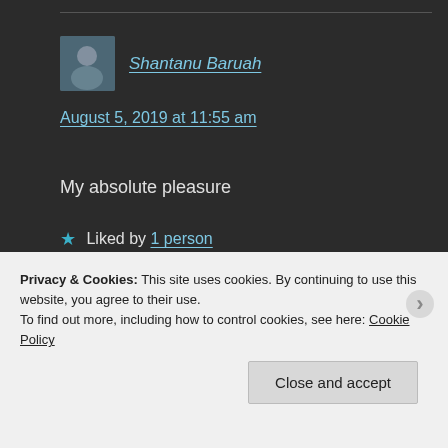Shantanu Baruah
August 5, 2019 at 11:55 am
My absolute pleasure
★ Liked by 1 person
Privacy & Cookies: This site uses cookies. By continuing to use this website, you agree to their use.
To find out more, including how to control cookies, see here: Cookie Policy
Close and accept